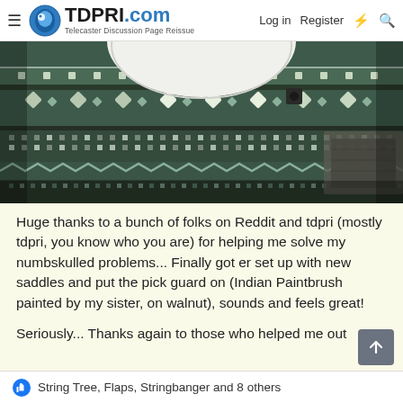TDPRI.com — Telecaster Discussion Page Reissue | Log in | Register
[Figure (photo): Close-up photo of a guitar body with a decorative woven/Aztec-patterned cloth or strap in dark teal, green, and white geometric patterns. A white circular guitar body and a small dark pickup or button are visible at the top.]
Huge thanks to a bunch of folks on Reddit and tdpri (mostly tdpri, you know who you are) for helping me solve my numbskulled problems... Finally got er set up with new saddles and put the pick guard on (Indian Paintbrush painted by my sister, on walnut), sounds and feels great!
Seriously... Thanks again to those who helped me out
👍 String Tree, Flaps, Stringbanger and 8 others